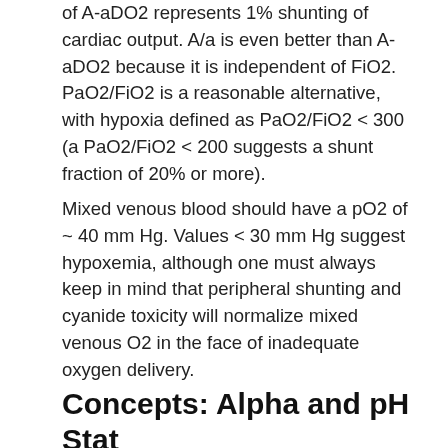of A-aDO2 represents 1% shunting of cardiac output. A/a is even better than A-aDO2 because it is independent of FiO2. PaO2/FiO2 is a reasonable alternative, with hypoxia defined as PaO2/FiO2 < 300 (a PaO2/FiO2 < 200 suggests a shunt fraction of 20% or more).
Mixed venous blood should have a pO2 of ~ 40 mm Hg. Values < 30 mm Hg suggest hypoxemia, although one must always keep in mind that peripheral shunting and cyanide toxicity will normalize mixed venous O2 in the face of inadequate oxygen delivery.
Concepts: Alpha and pH Stat